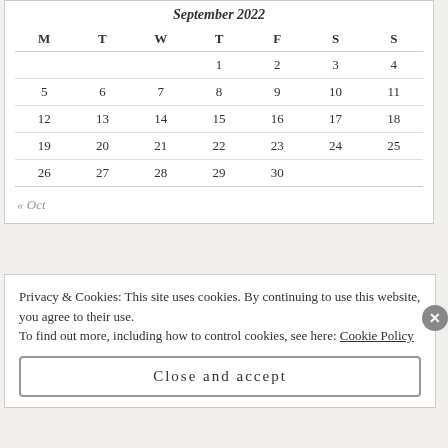September 2022
| M | T | W | T | F | S | S |
| --- | --- | --- | --- | --- | --- | --- |
|  |  |  | 1 | 2 | 3 | 4 |
| 5 | 6 | 7 | 8 | 9 | 10 | 11 |
| 12 | 13 | 14 | 15 | 16 | 17 | 18 |
| 19 | 20 | 21 | 22 | 23 | 24 | 25 |
| 26 | 27 | 28 | 29 | 30 |  |  |
« Oct
Privacy & Cookies: This site uses cookies. By continuing to use this website, you agree to their use.
To find out more, including how to control cookies, see here: Cookie Policy
Close and accept